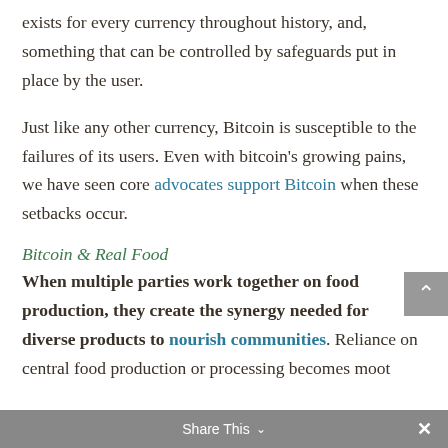exists for every currency throughout history, and, something that can be controlled by safeguards put in place by the user.
Just like any other currency, Bitcoin is susceptible to the failures of its users. Even with bitcoin's growing pains, we have seen core advocates support Bitcoin when these setbacks occur.
Bitcoin & Real Food
When multiple parties work together on food production, they create the synergy needed for diverse products to nourish communities. Reliance on central food production or processing becomes moot
Share This